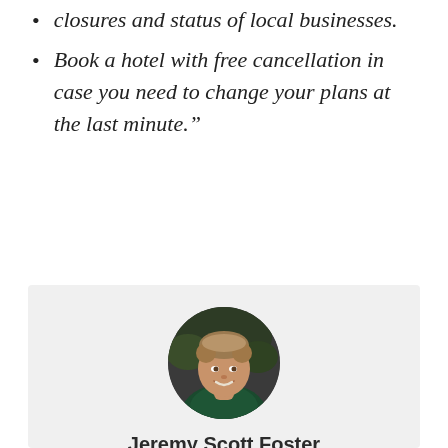closures and status of local businesses.
Book a hotel with free cancellation in case you need to change your plans at the last minute.”
[Figure (photo): Circular portrait photo of Jeremy Scott Foster, a smiling man with short hair wearing a green shirt, set against a dark outdoor background.]
Jeremy Scott Foster
Jeremy Scott Foster is an adventure-junkie, gear expert and travel photographer based in Southern California. Previously nomadic, he’s